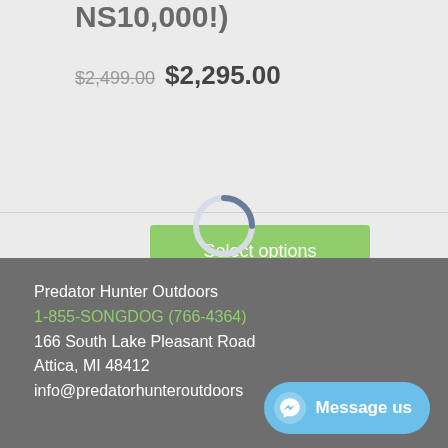NS10,000!)
$2,499.00 $2,295.00
Select options
[Figure (other): Loading spinner ring, partially filled arc in dark blue-grey on light background]
Predator Hunter Outdoors
1-855-SONGDOG (766-4364)
166 South Lake Pleasant Road
Attica, MI 48412
info@predatorhunteroutdoors
Message us